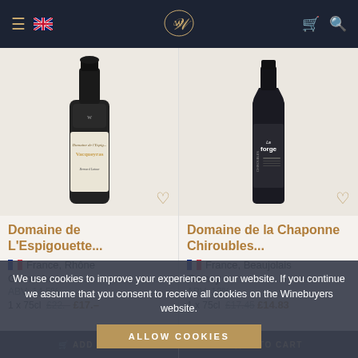Winebuyers website header with menu, UK flag, logo, cart and search icons
[Figure (photo): Wine bottle for Domaine de L'Espigouette with white label, dark bottle]
Domaine de L'Espigouette...
France, Rhône
Grenache
ABV: 14.5%
1 x 75cl  £22.– £17.–
[Figure (photo): Wine bottle for Domaine de la Chaponne Chiroubles, dark bottle with La Forge label]
Domaine de la Chaponne Chiroubles...
France, Beaujolais
Gamay
ABV: 13%
1 x 75cl  £17.45 £14.83
We use cookies to improve your experience on our website. If you continue we assume that you consent to receive all cookies on the Winebuyers website.
ALLOW COOKIES